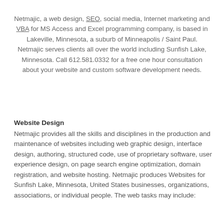Netmajic, a web design, SEO, social media, Internet marketing and VBA for MS Access and Excel programming company, is based in Lakeville, Minnesota, a suburb of Minneapolis / Saint Paul. Netmajic serves clients all over the world including Sunfish Lake, Minnesota. Call 612.581.0332 for a free one hour consultation about your website and custom software development needs.
Website Design
Netmajic provides all the skills and disciplines in the production and maintenance of websites including web graphic design, interface design, authoring, structured code, use of proprietary software, user experience design, on page search engine optimization, domain registration, and website hosting. Netmajic produces Websites for Sunfish Lake, Minnesota, United States businesses, organizations, associations, or individual people. The web tasks may include: